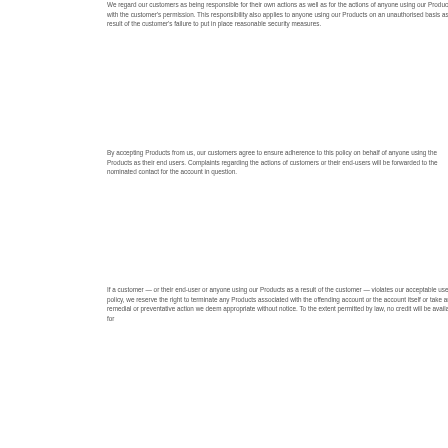We regard our customers as being responsible for their own actions as well as for the actions of anyone using our Products with the customer's permission. This responsibility also applies to anyone using our Products on an unauthorised basis as a result of the customer's failure to put in place reasonable security measures.
By accepting Products from us, our customers agree to ensure adherence to this policy on behalf of anyone using the Products as their end users. Complaints regarding the actions of customers or their end-users will be forwarded to the nominated contact for the account in question.
If a customer — or their end-user or anyone using our Products as a result of the customer — violates our acceptable use policy, we reserve the right to terminate any Products associated with the offending account or the account itself or take any remedial or preventative action we deem appropriate without notice. To the extent permitted by law, no credit will be available for